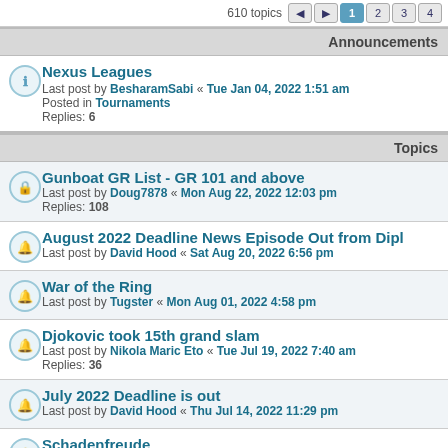610 topics  1 2 3 4
Announcements
Nexus Leagues
Last post by BesharamSabi « Tue Jan 04, 2022 1:51 am
Posted in Tournaments
Replies: 6
Topics
Gunboat GR List - GR 101 and above
Last post by Doug7878 « Mon Aug 22, 2022 12:03 pm
Replies: 108
August 2022 Deadline News Episode Out from Dipl...
Last post by David Hood « Sat Aug 20, 2022 6:56 pm
War of the Ring
Last post by Tugster « Mon Aug 01, 2022 4:58 pm
Djokovic took 15th grand slam
Last post by Nikola Maric Eto « Tue Jul 19, 2022 7:40 am
Replies: 36
July 2022 Deadline is out
Last post by David Hood « Thu Jul 14, 2022 11:29 pm
Schadenfreude